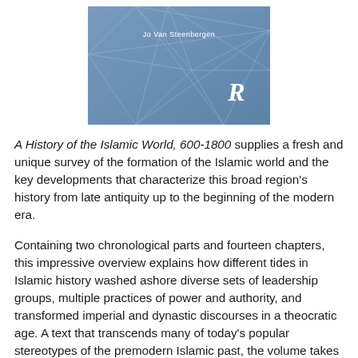[Figure (illustration): Book cover of 'A History of the Islamic World, 600-1800' with blue geometric pattern background, author name 'Jo Van Steenbergen' and Routledge logo]
A History of the Islamic World, 600-1800 supplies a fresh and unique survey of the formation of the Islamic world and the key developments that characterize this broad region's history from late antiquity up to the beginning of the modern era.
Containing two chronological parts and fourteen chapters, this impressive overview explains how different tides in Islamic history washed ashore diverse sets of leadership groups, multiple practices of power and authority, and transformed imperial and dynastic discourses in a theocratic age. A text that transcends many of today's popular stereotypes of the premodern Islamic past, the volume takes a holistically and theoretically informed approach for understanding, interpreting and teaching premodern Islamic